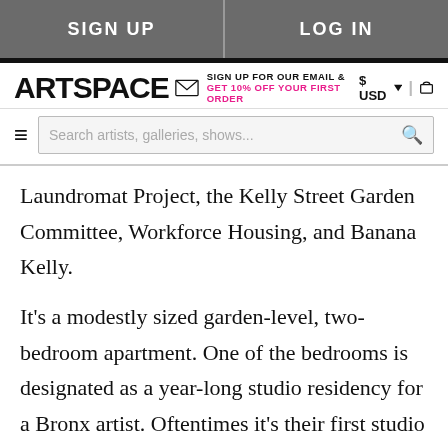SIGN UP | LOG IN
ARTSPACE — SIGN UP FOR OUR EMAIL & GET 10% OFF YOUR FIRST ORDER — $ USD | cart
Search artists, galleries, shows...
Laundromat Project, the Kelly Street Garden Committee, Workforce Housing, and Banana Kelly.
It's a modestly sized garden-level, two-bedroom apartment. One of the bedrooms is designated as a year-long studio residency for a Bronx artist. Oftentimes it's their first studio space, so it offers an opportunity to really expand on their practices. We work really closely with our other community partners to select the artists who are there and help with the programming—again,